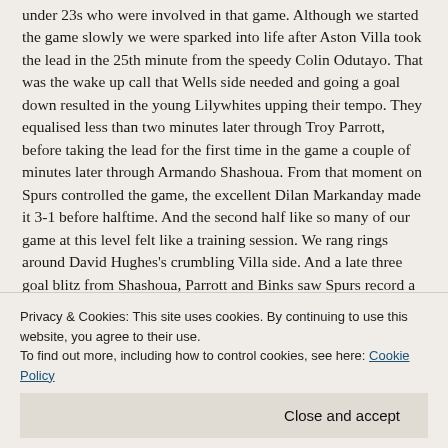under 23s who were involved in that game. Although we started the game slowly we were sparked into life after Aston Villa took the lead in the 25th minute from the speedy Colin Odutayo. That was the wake up call that Wells side needed and going a goal down resulted in the young Lilywhites upping their tempo. They equalised less than two minutes later through Troy Parrott, before taking the lead for the first time in the game a couple of minutes later through Armando Shashoua. From that moment on Spurs controlled the game, the excellent Dilan Markanday made it 3-1 before halftime. And the second half like so many of our game at this level felt like a training session. We rang rings around David Hughes's crumbling Villa side. And a late three goal blitz from Shashoua, Parrott and Binks saw Spurs record a 6-1 win over the Villa who became our sides latest victim. It was a pleasure to watch the game but I was extremely impressed with how we turned up the tempo and giving a great start to enjoying their career. The likes of
Privacy & Cookies: This site uses cookies. By continuing to use this website, you agree to their use. To find out more, including how to control cookies, see here: Cookie Policy
Close and accept